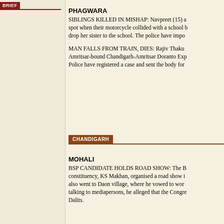BRIEF
PHAGWARA
SIBLINGS KILLED IN MISHAP: Navpreet (15) and her sibling died on the spot when their motorcycle collided with a school bus. The rider was trying to drop her sister to the school. The police have impo...
MAN FALLS FROM TRAIN, DIES: Rajiv Thakur fell from the Amritsar-bound Chandigarh-Amritsar Doranto Express near Phagwara. Police have registered a case and sent the body for...
CHANDIGARH
MOHALI
BSP CANDIDATE HOLDS ROAD SHOW: The BSP candidate from the constituency, KS Makhan, organised a road show in the area. He also went to Daon village, where he vowed to work for the people. While talking to mediapersons, he alleged that the Congress neglected the Dalits.
JAMMU & KASHMIR